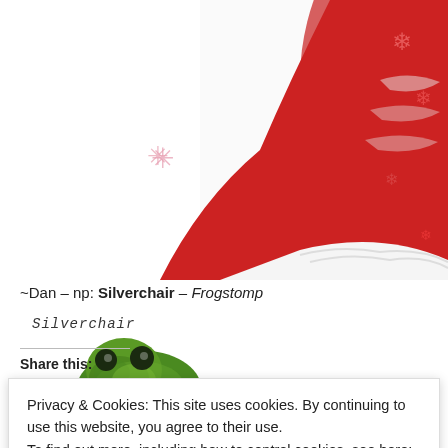[Figure (illustration): Partial illustration of Santa Claus in red suit with white trim and snowflake decorations, showing torso and arm area against white background. A pink snowflake asterisk decoration is visible on the left side.]
~Dan – np: Silverchair – Frogstomp
[Figure (illustration): Silverchair Frogstomp album cover showing a green frog against a white background with handwritten 'Silverchair' text above and 'frogstomp' written in handwriting below the frog image.]
Share this:
Privacy & Cookies: This site uses cookies. By continuing to use this website, you agree to their use.
To find out more, including how to control cookies, see here: Cookie Policy
Close and accept